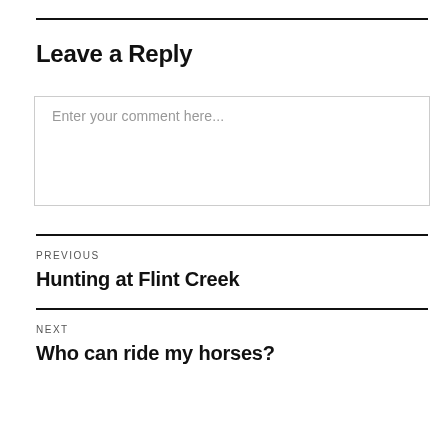Leave a Reply
Enter your comment here...
PREVIOUS
Hunting at Flint Creek
NEXT
Who can ride my horses?